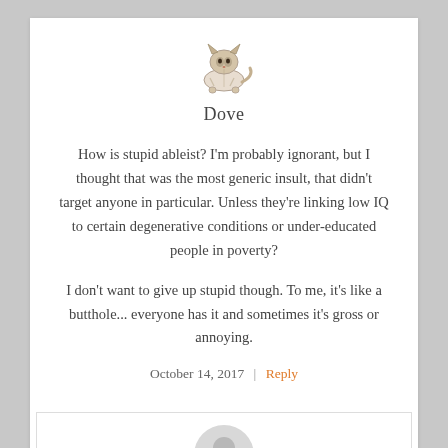[Figure (illustration): Small illustrated avatar of a cat/animal character, used as user profile picture for Dove]
Dove
How is stupid ableist? I'm probably ignorant, but I thought that was the most generic insult, that didn't target anyone in particular. Unless they're linking low IQ to certain degenerative conditions or under-educated people in poverty?
I don't want to give up stupid though. To me, it's like a butthole... everyone has it and sometimes it's gross or annoying.
October 14, 2017  |  Reply
[Figure (illustration): Generic user avatar placeholder (gray silhouette of a person) for the next nested comment]